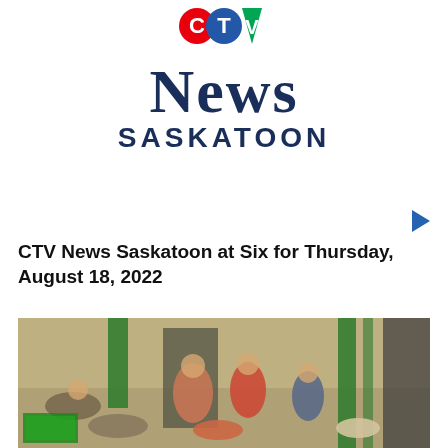[Figure (logo): CTV News Saskatoon logo with colored CTV icon at top, large serif NEWS text, and bold sans-serif SASKATOON below]
CTV News Saskatoon at Six for Thursday, August 18, 2022
[Figure (photo): Video thumbnail showing people in what appears to be an indoor venue with green banners, some individuals crouching or on the ground, low-light blurry scene]